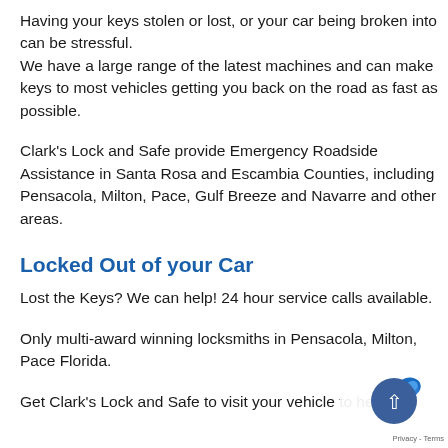Having your keys stolen or lost, or your car being broken into can be stressful.
We have a large range of the latest machines and can make keys to most vehicles getting you back on the road as fast as possible.
Clark's Lock and Safe provide Emergency Roadside Assistance in Santa Rosa and Escambia Counties, including Pensacola, Milton, Pace, Gulf Breeze and Navarre and other areas.
Locked Out of your Car
Lost the Keys? We can help! 24 hour service calls available.
Only multi-award winning locksmiths in Pensacola, Milton, Pace Florida.
Get Clark's Lock and Safe to visit your vehicle to help with